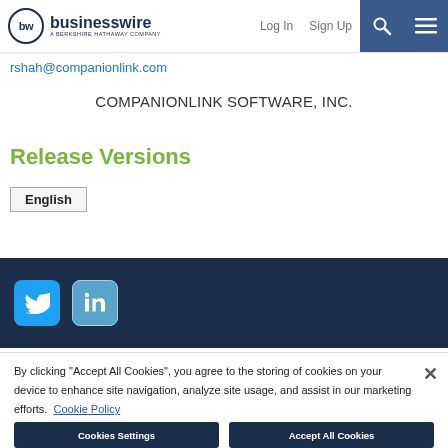businesswire — A BERKSHIRE HATHAWAY COMPANY | Log In | Sign Up
rshah@companionlink.com
COMPANIONLINK SOFTWARE, INC.
Release Versions
English
[Figure (other): Social media icons: Twitter and LinkedIn on dark navy background footer band]
By clicking "Accept All Cookies", you agree to the storing of cookies on your device to enhance site navigation, analyze site usage, and assist in our marketing efforts. Cookie Policy
Cookies Settings | Accept All Cookies